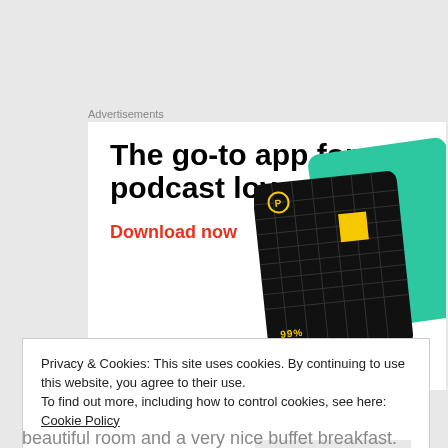Advertisements
[Figure (illustration): Advertisement banner for a podcast app. Bold black text reads 'The go-to app for podcast lovers.' with red bold text 'Download now'. On the right side there are overlapping podcast app cards including a black card with grid pattern labeled '99% INVISIBLE', a teal card with 'what' and 'On' partially visible, a blue card, and a red card.]
Privacy & Cookies: This site uses cookies. By continuing to use this website, you agree to their use.
To find out more, including how to control cookies, see here: Cookie Policy
Close and accept
beautiful room and a very nice buffet breakfast.